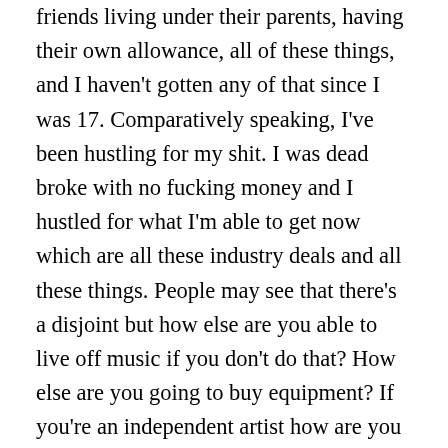friends living under their parents, having their own allowance, all of these things, and I haven't gotten any of that since I was 17. Comparatively speaking, I've been hustling for my shit. I was dead broke with no fucking money and I hustled for what I'm able to get now which are all these industry deals and all these things. People may see that there's a disjoint but how else are you able to live off music if you don't do that? How else are you going to buy equipment? If you're an independent artist how are you going to make events? In order to get anything done you need money.
No matter how purist you want to be, talking shit, two weeks ago I was able to feed 700 kids. With cash. I can say that I have all of these dreams but without actually acting up on it, it's just talk. In order for me to stick to my